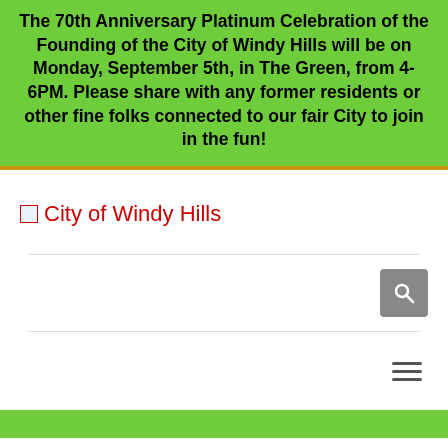The 70th Anniversary Platinum Celebration of the Founding of the City of Windy Hills will be on Monday, September 5th, in The Green, from 4-6PM. Please share with any former residents or other fine folks connected to our fair City to join in the fun!
[Figure (logo): City of Windy Hills logo placeholder with red text]
[Figure (other): Search button icon (magnifying glass) in grey square]
[Figure (other): Hamburger menu icon (three horizontal lines)]
Minutes, July 8, 2019